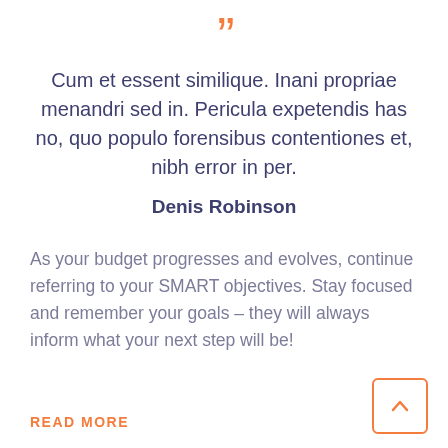[Figure (illustration): Large orange closing double-quotation mark decorative element]
Cum et essent similique. Inani propriae menandri sed in. Pericula expetendis has no, quo populo forensibus contentiones et, nibh error in per.
Denis Robinson
As your budget progresses and evolves, continue referring to your SMART objectives. Stay focused and remember your goals – they will always inform what your next step will be!
READ MORE